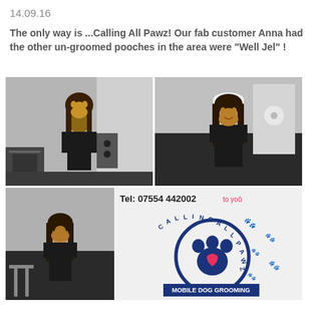14.09.16
The only way is ...Calling All Pawz! Our fab customer Anna had the other un-groomed pooches in the area were "Well Jel" !
[Figure (photo): Three photos: top-left shows a woman holding a small dog inside a mobile dog grooming van; top-right shows a woman in a white cap holding a small dog; bottom shows the same woman with her dog and the side of the Calling All Pawz mobile dog grooming van with logo and telephone number Tel: 07554 442002.]